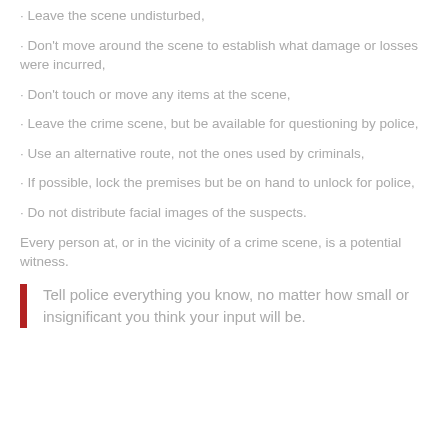· Leave the scene undisturbed,
· Don't move around the scene to establish what damage or losses were incurred,
· Don't touch or move any items at the scene,
· Leave the crime scene, but be available for questioning by police,
· Use an alternative route, not the ones used by criminals,
· If possible, lock the premises but be on hand to unlock for police,
· Do not distribute facial images of the suspects.
Every person at, or in the vicinity of a crime scene, is a potential witness.
Tell police everything you know, no matter how small or insignificant you think your input will be.